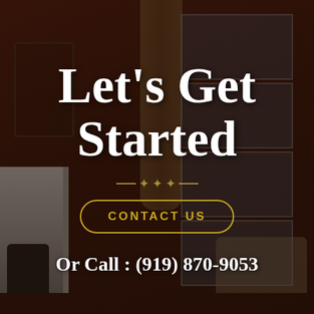[Figure (photo): Interior living room photo with dark overlay. Room features dark red walls, tall windows with shutters, a ceiling fan, fireplace on the left, ornate iron railing on upper left, curtains, and upholstered furniture.]
Let's Get Started
CONTACT US
Or Call : (919) 870-9053